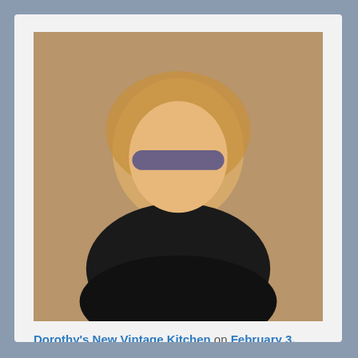[Figure (photo): Profile photo of Dorothy, a woman with curly blonde hair and glasses]
Dorothy's New Vintage Kitchen on February 3, 2021 at 11:28 am said:
I really love this image!
Reply ↓
[Figure (photo): Profile photo of Jack and Barbra Donachy, a couple wearing sunglasses]
Jack & Barbra Donachy on February 3, 2021 at 1:50 pm said:
Thanks, Dorothy!
Reply ↓